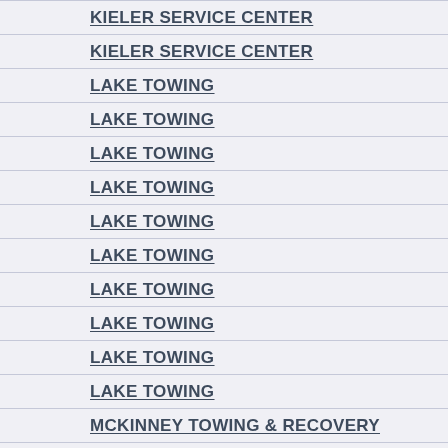KIELER SERVICE CENTER
KIELER SERVICE CENTER
LAKE TOWING
LAKE TOWING
LAKE TOWING
LAKE TOWING
LAKE TOWING
LAKE TOWING
LAKE TOWING
LAKE TOWING
LAKE TOWING
LAKE TOWING
MCKINNEY TOWING & RECOVERY